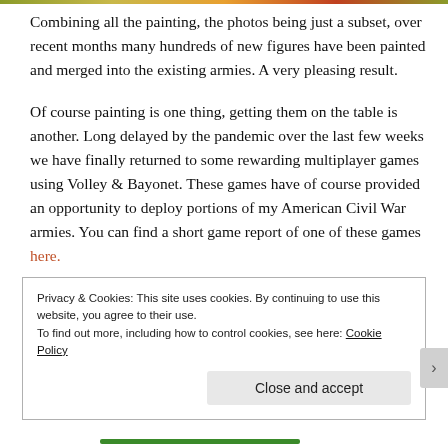Combining all the painting, the photos being just a subset, over recent months many hundreds of new figures have been painted and merged into the existing armies. A very pleasing result.
Of course painting is one thing, getting them on the table is another. Long delayed by the pandemic over the last few weeks we have finally returned to some rewarding multiplayer games using Volley & Bayonet. These games have of course provided an opportunity to deploy portions of my American Civil War armies. You can find a short game report of one of these games here.
Privacy & Cookies: This site uses cookies. By continuing to use this website, you agree to their use. To find out more, including how to control cookies, see here: Cookie Policy